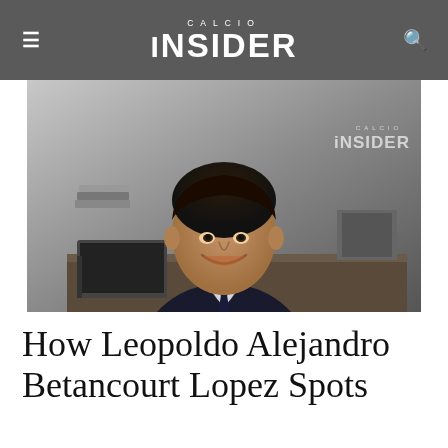CALCIO INSIDER
[Figure (photo): A man in a dark suit and tie sitting at a desk, smiling at the camera. The Calcio Insider watermark logo appears in the upper right of the image.]
How Leopoldo Alejandro Betancourt Lopez Spots Investment Opportuniti...